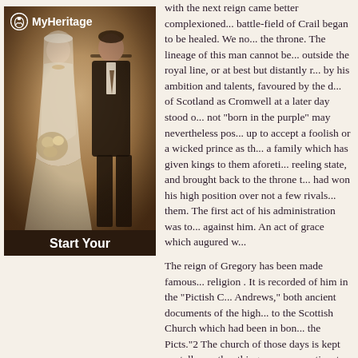with the next reign came better complexioned... battle-field of Crail began to be healed. We now have the throne. The lineage of this man cannot be... outside the royal line, or at best but distantly r... by his ambition and talents, favoured by the d... of Scotland as Cromwell at a later day stood o... not "born in the purple" may nevertheless pos... up to accept a foolish or a wicked prince as th... a family which has given kings to them aforeti... reeling state, and brought back to the throne t... had won his high position over not a few rivals... them. The first act of his administration was to... against him. An act of grace which augured w...
[Figure (photo): MyHeritage advertisement showing a vintage sepia wedding photo of a bride and groom, with the MyHeritage logo at top and 'Start Your' text at bottom.]
The reign of Gregory has been made famous... religion . It is recorded of him in the "Pictish C... Andrews," both ancient documents of the high... to the Scottish Church which had been in bon... the Picts."2 The church of those days is kept v... talk on other things, are very reticent on this s... out of their memory. But there come in the co... a lifting of the veil, and which give us a mome... state of religion. This is one of those incidenta... or two not unimportant conclusions.
First of all, it is noteworthy that this is the first... Church." This alone is of great significance. W... the whole country. It is still Alban. The church... "Scottish Church" before we read of the "Scot... church" which we here see Gregory liberating...
Start Your